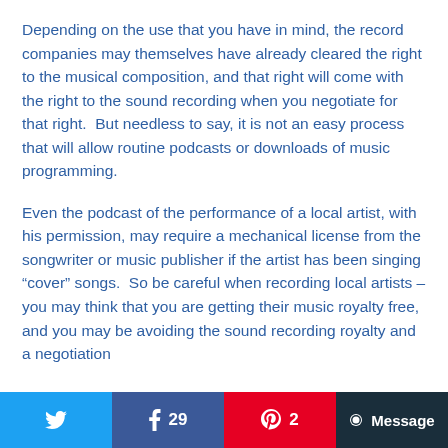Depending on the use that you have in mind, the record companies may themselves have already cleared the right to the musical composition, and that right will come with the right to the sound recording when you negotiate for that right.  But needless to say, it is not an easy process that will allow routine podcasts or downloads of music programming.
Even the podcast of the performance of a local artist, with his permission, may require a mechanical license from the songwriter or music publisher if the artist has been singing “cover” songs.  So be careful when recording local artists – you may think that you are getting their music royalty free, and you may be avoiding the sound recording royalty and a negotiation